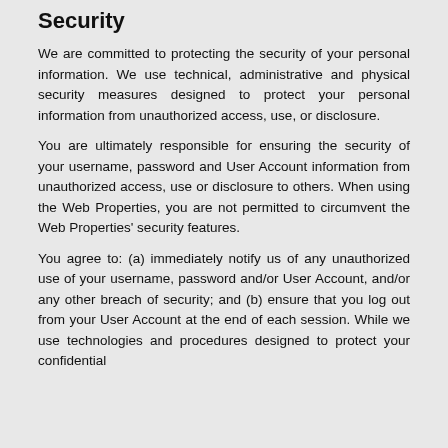Security
We are committed to protecting the security of your personal information. We use technical, administrative and physical security measures designed to protect your personal information from unauthorized access, use, or disclosure.
You are ultimately responsible for ensuring the security of your username, password and User Account information from unauthorized access, use or disclosure to others. When using the Web Properties, you are not permitted to circumvent the Web Properties' security features.
You agree to: (a) immediately notify us of any unauthorized use of your username, password and/or User Account, and/or any other breach of security; and (b) ensure that you log out from your User Account at the end of each session. While we use technologies and procedures designed to protect your confidential information, we cannot guarantee that your personal information